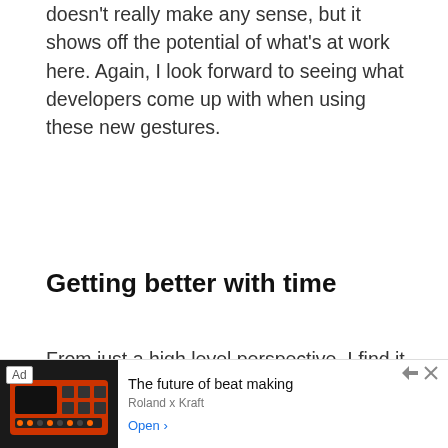doesn't really make any sense, but it shows off the potential of what's at work here. Again, I look forward to seeing what developers come up with when using these new gestures.
Getting better with time
From just a high level perspective, I find it mighty admirable that one developer can continue to refine and work on an app year after year. That's exactly what Petrich has done with Activator, and it's not like he's gaining royalties off of its usage. That's dedication, and it should make all of us respect the developers who continue to pour their efforts into making their releases the absol
[Figure (other): Ad banner: Roland x Kraft - The future of beat making. Shows an image of a beat-making device. Open button on the right.]